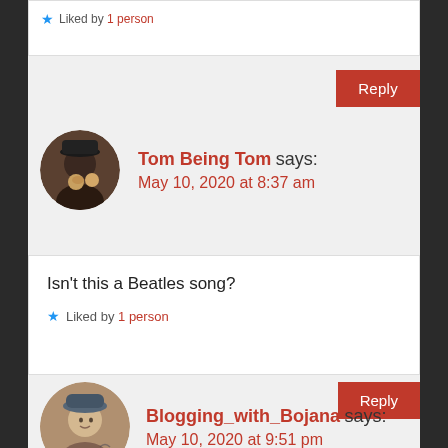★ Liked by 1 person
Reply
Tom Being Tom says:
May 10, 2020 at 8:37 am
Isn't this a Beatles song?
★ Liked by 1 person
Reply
Blogging_with_Bojana says:
May 10, 2020 at 9:51 pm